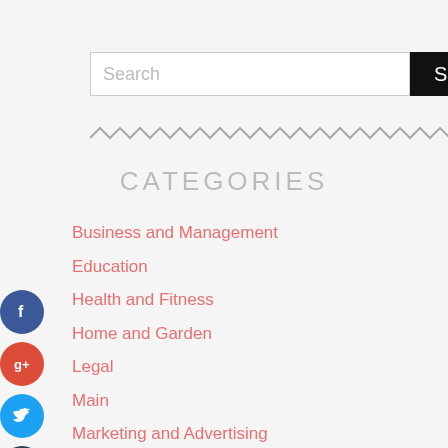[Figure (other): Search bar with text input field and black Search button]
[Figure (other): Zigzag decorative divider line]
CATEGORIES
Business and Management
Education
Health and Fitness
Home and Garden
Legal
Main
Marketing and Advertising
Pets